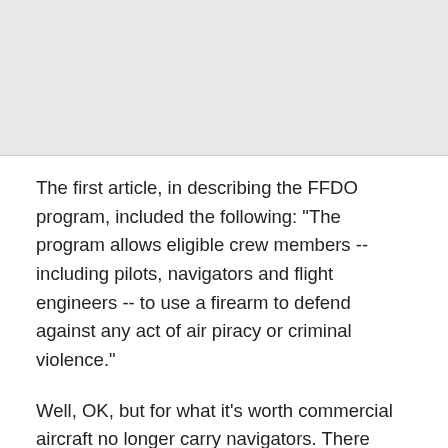[Figure (other): Gray shaded area at top of page, likely an image or header area that is not rendered]
The first article, in describing the FFDO program, included the following: "The program allows eligible crew members -- including pilots, navigators and flight engineers -- to use a firearm to defend against any act of air piracy or criminal violence."
Well, OK, but for what it's worth commercial aircraft no longer carry navigators. There have not been navigators on any U.S. registered commercial aircraft